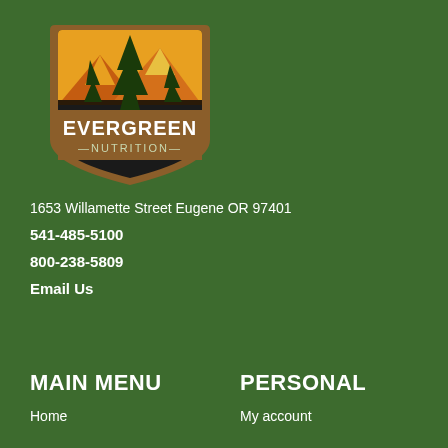[Figure (logo): Evergreen Nutrition logo with pine trees, mountains in orange/red/yellow tones, with text EVERGREEN NUTRITION on a brown badge shape]
1653 Willamette Street Eugene OR 97401
541-485-5100
800-238-5809
Email Us
MAIN MENU
PERSONAL
Home
My account